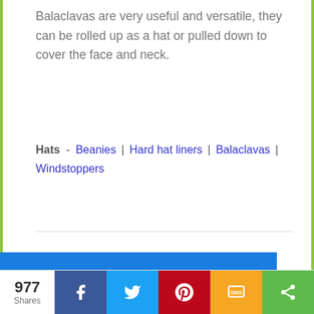Balaclavas are very useful and versatile, they can be rolled up as a hat or pulled down to cover the face and neck.
Hats - Beanies | Hard hat liners | Balaclavas | Windstoppers
We and our partners use cookies on this site to analyze our traffic and personalize ad content. By continuing to use this site we will assume that you are happy with this.
Learn more
Got it!
977 Shares